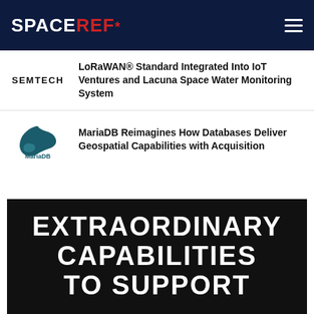SPACEREF*
LoRaWAN® Standard Integrated Into IoT Ventures and Lacuna Space Water Monitoring System
MariaDB Reimagines How Databases Deliver Geospatial Capabilities with Acquisition
[Figure (illustration): Black banner with large white bold text reading EXTRAORDINARY CAPABILITIES TO SUPPORT]